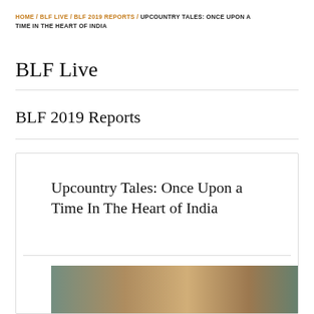HOME / BLF LIVE / BLF 2019 REPORTS / UPCOUNTRY TALES: ONCE UPON A TIME IN THE HEART OF INDIA
BLF Live
BLF 2019 Reports
Upcountry Tales: Once Upon a Time In The Heart of India
[Figure (photo): Partial view of an image at the bottom of a card, showing colorful photographic content]